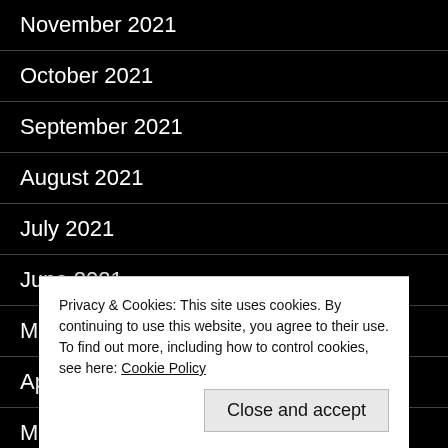November 2021
October 2021
September 2021
August 2021
July 2021
June 2021
May 2021
April 2021
Privacy & Cookies: This site uses cookies. By continuing to use this website, you agree to their use.
To find out more, including how to control cookies, see here: Cookie Policy
Close and accept